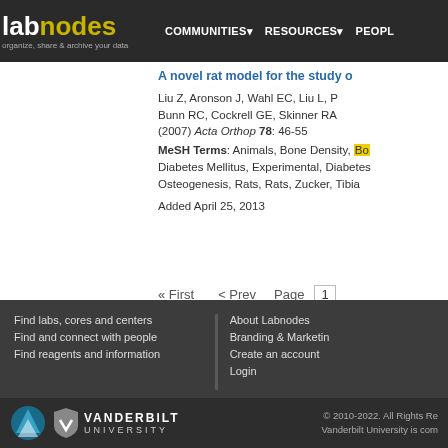lab nodes | COMMUNITIES | RESOURCES | PEOPLE
A novel rat model for the study o...
Liu Z, Aronson J, Wahl EC, Liu L, P... Bunn RC, Cockrell GE, Skinner RA... (2007) Acta Orthop 78: 46-55
MeSH Terms: Animals, Bone Density, Bo[ne Formation/drug effects], Diabetes Mellitus, Experimental, Diabetes... Osteogenesis, Rats, Rats, Zucker, Tibia
Added April 25, 2013
« First  < Prev  Page 1
Find labs, cores and centers | Find and connect with people | Find reagents and information | About Labnodes | Branding & Marketing | Create an account | Login | © 2010-2022. All Rights Reserved. Vanderbilt University is com...